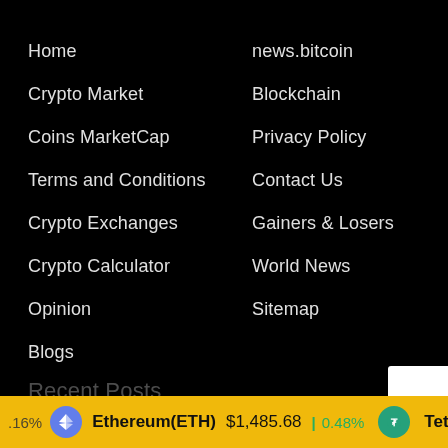Home
Crypto Market
Coins MarketCap
Terms and Conditions
Crypto Exchanges
Crypto Calculator
Opinion
Blogs
news.bitcoin
Blockchain
Privacy Policy
Contact Us
Gainers & Losers
World News
Sitemap
Recent Posts
.16%   Ethereum(ETH)  $1,485.68  ▲  0.48%   Tether(USD